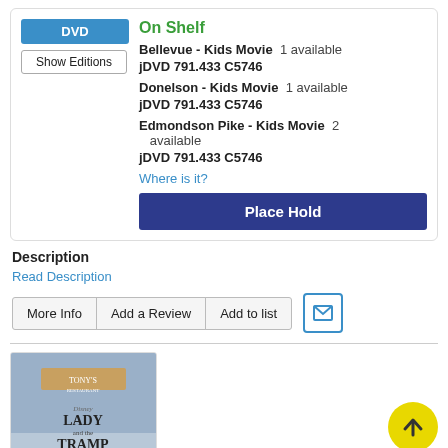DVD
Show Editions
On Shelf
Bellevue - Kids Movie  1 available
jDVD 791.433 C5746
Donelson - Kids Movie  1 available
jDVD 791.433 C5746
Edmondson Pike - Kids Movie  2 available
jDVD 791.433 C5746
Where is it?
Place Hold
Description
Read Description
More Info
Add a Review
Add to list
[Figure (illustration): Disney Lady and the Tramp movie cover art showing two animated dogs at a restaurant]
[Figure (other): Yellow circular scroll-to-top button with upward arrow]